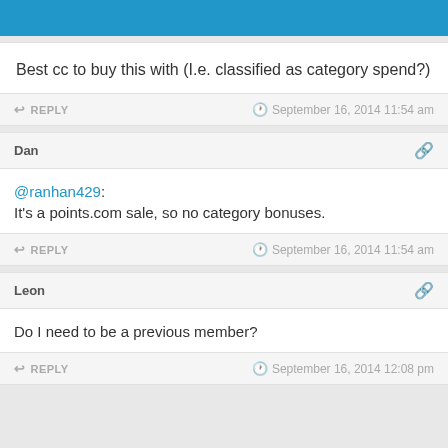DansDeals
Best cc to buy this with (I.e. classified as category spend?)
REPLY  September 16, 2014 11:54 am
Dan
@ranhan429: It's a points.com sale, so no category bonuses.
REPLY  September 16, 2014 11:54 am
Leon
Do I need to be a previous member?
REPLY  September 16, 2014 12:08 pm